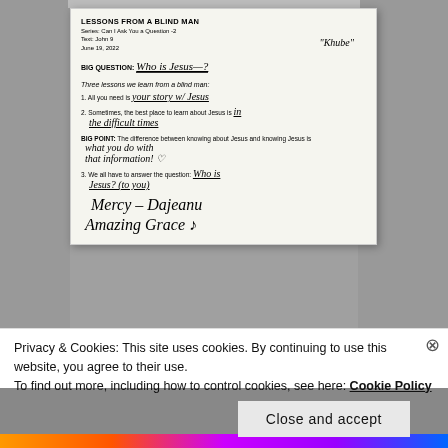[Figure (photo): A photograph of a handwritten church bulletin/note titled 'LESSONS FROM A BLIND MAN', Series: Can I Ask You a Question -2, Text: John 9, June 19, 2022. The note contains a Big Question 'Who is Jesus?', three lessons about learning from a blind man, a Big Point about the difference between knowing about Jesus and knowing Jesus, with handwritten answers filled in. At the bottom are handwritten words 'Mercy - Dajeanu' and 'Amazing Grace' with a music note.]
Privacy & Cookies: This site uses cookies. By continuing to use this website, you agree to their use.
To find out more, including how to control cookies, see here: Cookie Policy
Close and accept